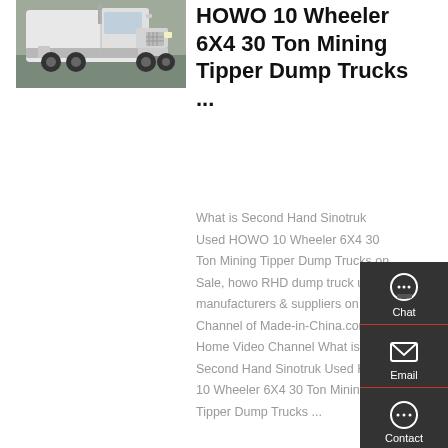[Figure (photo): White HOWO dump truck (tractor/cab unit) parked indoors, front-left angle view]
HOWO 10 Wheeler 6X4 30 Ton Mining Tipper Dump Trucks ...
What is Second Hand Sinotruk Used HOWO 10 Wheeler 6X4 30 Ton Mining Tipper Dump Trucks on Sale, howo RHD dump truck used manufacturers & suppliers on Video Channel of Made-in-China.com. Home Video Channel What is Second Hand Sinotruk Used HOWO 10 Wheeler 6X4 30 Ton Mining Tipper Dump Trucks ...